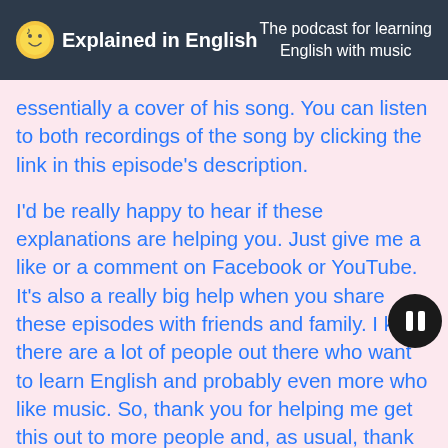🎵 Explained in English — The podcast for learning English with music
essentially a cover of his song. You can listen to both recordings of the song by clicking the link in this episode's description.
I'd be really happy to hear if these explanations are helping you. Just give me a like or a comment on Facebook or YouTube. It's also a really big help when you share these episodes with friends and family. I know there are a lot of people out there who want to learn English and probably even more who like music. So, thank you for helping me get this out to more people and, as usual, thank you for listening. Alright, that's it for today. I'll be